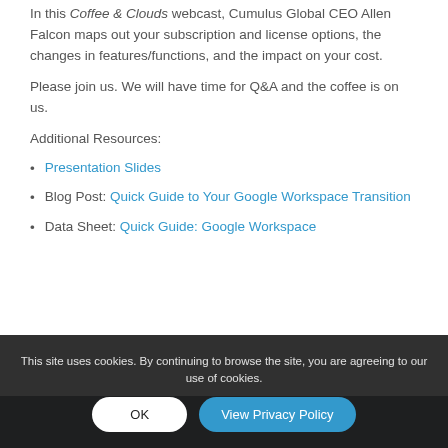In this Coffee & Clouds webcast, Cumulus Global CEO Allen Falcon maps out your subscription and license options, the changes in features/functions, and the impact on your cost.
Please join us. We will have time for Q&A and the coffee is on us.
Additional Resources:
Presentation Slides
Blog Post: Quick Guide to Your Google Workspace Transition
Data Sheet: Quick Guide: Google Workspace Transition
This site uses cookies. By continuing to browse the site, you are agreeing to our use of cookies.